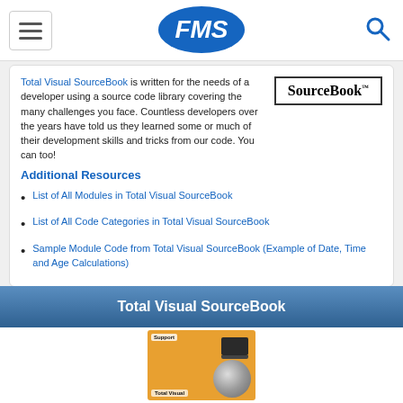FMS (logo navigation bar with hamburger menu and search icon)
[Figure (logo): SourceBook logo text in bordered box]
Total Visual SourceBook is written for the needs of a developer using a source code library covering the many challenges you face. Countless developers over the years have told us they learned some or much of their development skills and tricks from our code. You can too!
Additional Resources
List of All Modules in Total Visual SourceBook
List of All Code Categories in Total Visual SourceBook
Sample Module Code from Total Visual SourceBook (Example of Date, Time and Age Calculations)
Total Visual SourceBook
[Figure (photo): Book cover of Total Visual SourceBook product on orange background with CD and laptop illustration]